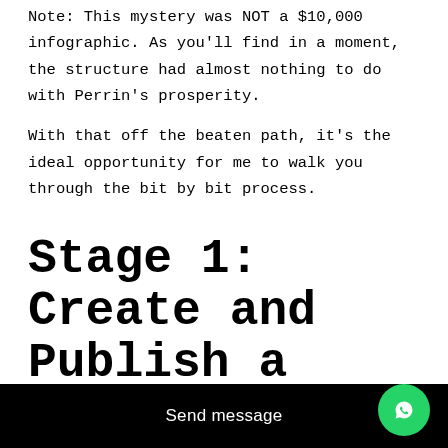Note: This mystery was NOT a $10,000 infographic. As you'll find in a moment, the structure had almost nothing to do with Perrin's prosperity.
With that off the beaten path, it's the ideal opportunity for me to walk you through the bit by bit process.
Stage 1: Create and Publish a (Really Good) Infographic
Here's the arrangement:
Send message